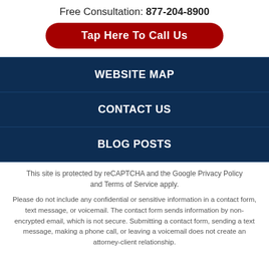Free Consultation: 877-204-8900
Tap Here To Call Us
WEBSITE MAP
CONTACT US
BLOG POSTS
This site is protected by reCAPTCHA and the Google Privacy Policy and Terms of Service apply.
Please do not include any confidential or sensitive information in a contact form, text message, or voicemail. The contact form sends information by non-encrypted email, which is not secure. Submitting a contact form, sending a text message, making a phone call, or leaving a voicemail does not create an attorney-client relationship.